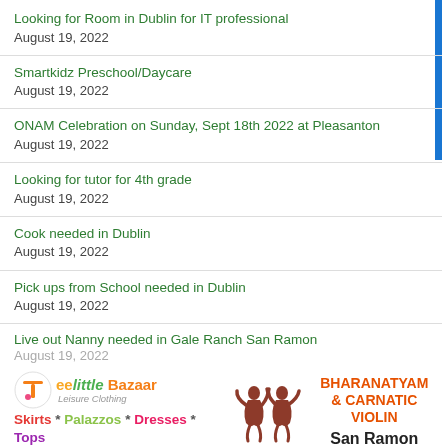Looking for Room in Dublin for IT professional
August 19, 2022
Smartkidz Preschool/Daycare
August 19, 2022
ONAM Celebration on Sunday, Sept 18th 2022 at Pleasanton
August 19, 2022
Looking for tutor for 4th grade
August 19, 2022
Cook needed in Dublin
August 19, 2022
Pick ups from School needed in Dublin
August 19, 2022
Live out Nanny needed in Gale Ranch San Ramon
August 19, 2022
[Figure (infographic): Little Bazaar clothing ad with logo, tagline: Skirts * Palazzos * Dresses * Tops, website www.thelittlebazaar.com, Dublin 408-375-6353]
[Figure (infographic): KA Academy of Indian Music and Dance ad with two dancers figure, BHARANATYAM & CARNATIC VIOLIN, San Ramon 678-462-9575]
Cooking help available
August 19, 2022
Learn Telugu at Silicon Andhra Mancbodi classes start 09/19...